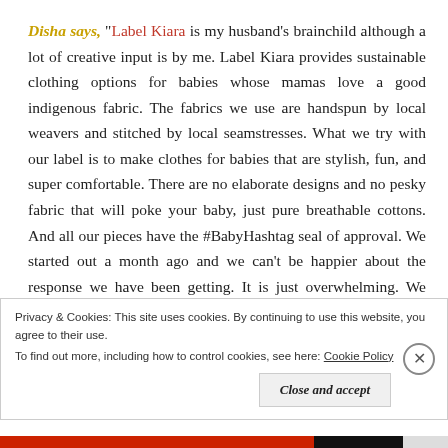Disha says, "Label Kiara is my husband's brainchild although a lot of creative input is by me. Label Kiara provides sustainable clothing options for babies whose mamas love a good indigenous fabric. The fabrics we use are handspun by local weavers and stitched by local seamstresses. What we try with our label is to make clothes for babies that are stylish, fun, and super comfortable. There are no elaborate designs and no pesky fabric that will poke your baby, just pure breathable cottons. And all our pieces have the #BabyHashtag seal of approval. We started out a month ago and we can't be happier about the response we have been getting. It is just overwhelming. We have a lot of new ideas
Privacy & Cookies: This site uses cookies. By continuing to use this website, you agree to their use.
To find out more, including how to control cookies, see here: Cookie Policy